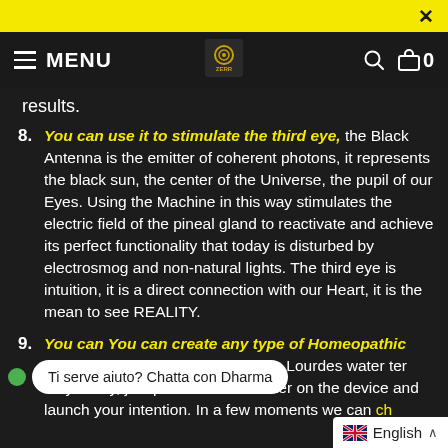MENU [nav bar with hamburger, logo, search, cart]
results.
8. You can use it to stimulate the third eye, the Black Antenna is the emitter of coherent photons, it represents the black sun, the center of the Universe, the pupil of our Eyes. Using the Machine in this way stimulates the electric field of the pineal gland to reactivate and achieve its perfect functionality that today is disturbed by electrosmog and non-natural lights. The third eye is intuition, it is a direct connection with our Heart, it is the mean to see REALITY.
9. You can You can create any type of Homeopathic Remedy instantly, you can create Lourdes water ter very easily, just put a bottle of Water on the device and launch your intention. In a few moments we can ch...